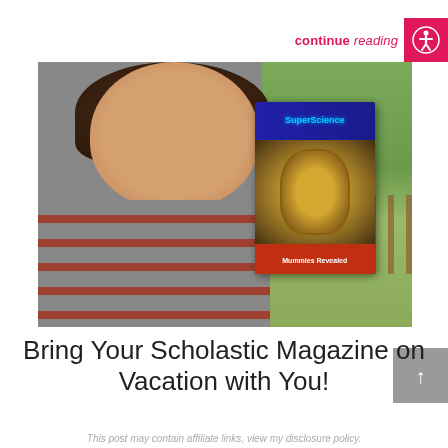continue reading
[Figure (photo): A smiling woman with dark curly hair holding a SuperScience magazine (Mummies Revealed issue) in an outdoor park setting with green grass and a wooden fence in the background.]
Bring Your Scholastic Magazine on Vacation with You!
This post may contain affiliate links, view my disclosure policy.